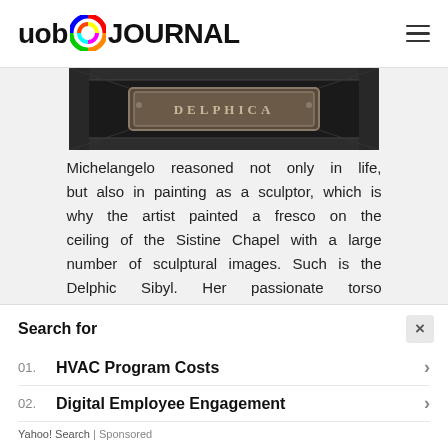uob JOURNAL
[Figure (photo): Close-up of the Delphic Sibyl label/plaque from the Sistine Chapel ceiling, showing ornate carved frame with 'DELPHICA' text on a stone tablet]
Michelangelo reasoned not only in life, but also in painting as a sculptor, which is why the artist painted a fresco on the ceiling of the Sistine Chapel with a large number of sculptural images. Such is the Delphic Sibyl. Her passionate torso movement and gaze directed into the distance captivates the viewer. And the hand lying limply on the knee is slightly opposed to this image.
Search for
01. HVAC Program Costs
02. Digital Employee Engagement
Yahoo! Search | Sponsored